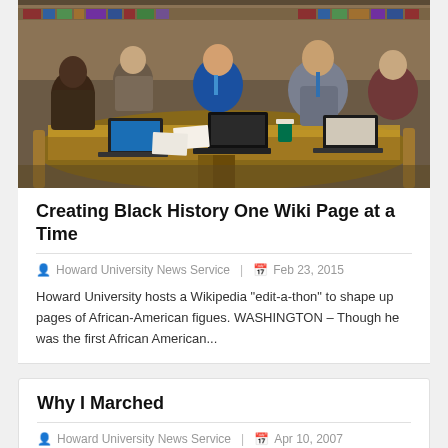[Figure (photo): People sitting around a large wooden table in a library-like setting, working on laptops and papers during a Wikipedia edit-a-thon event.]
Creating Black History One Wiki Page at a Time
Howard University News Service  |  Feb 23, 2015
Howard University hosts a Wikipedia "edit-a-thon" to shape up pages of African-American figues. WASHINGTON – Though he was the first African American...
Why I Marched
Howard University News Service  |  Apr 10, 2007